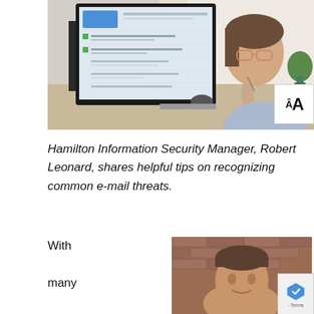[Figure (photo): Woman with glasses looking at a computer monitor displaying what appears to be an email inbox, with her hand raised to her chin thoughtfully. Indoor office/home office setting with plants and natural light in the background.]
ÂA
Hamilton Information Security Manager, Robert Leonard, shares helpful tips on recognizing common e-mail threats.
With many businesses and
[Figure (photo): Headshot of a man (Robert Leonard) against a brick wall background.]